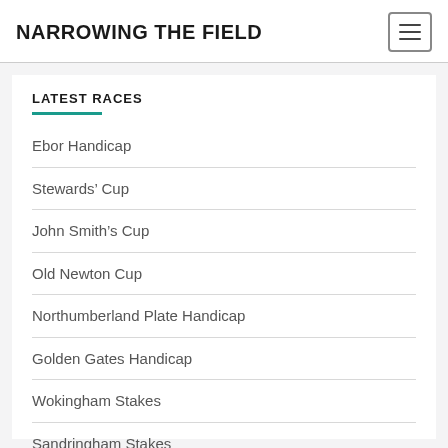NARROWING THE FIELD
LATEST RACES
Ebor Handicap
Stewards’ Cup
John Smith’s Cup
Old Newton Cup
Northumberland Plate Handicap
Golden Gates Handicap
Wokingham Stakes
Sandringham Stakes